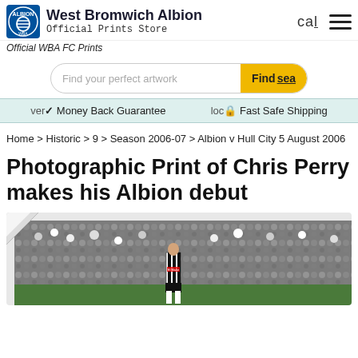West Bromwich Albion Official Prints Store
Official WBA FC Prints
Find your perfect artwork | Find search
Money Back Guarantee | Fast Safe Shipping
Home > Historic > 9 > Season 2006-07 > Albion v Hull City 5 August 2006
Photographic Print of Chris Perry makes his Albion debut
[Figure (photo): Photographic print showing a West Bromwich Albion player (Chris Perry) in a black and white striped kit standing on the pitch with a packed stadium crowd behind him.]